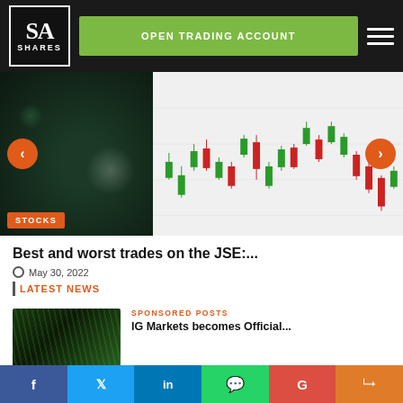[Figure (logo): SA Shares logo - white text on dark background with border]
OPEN TRADING ACCOUNT
[Figure (screenshot): Stock market candlestick chart on screen with green and red candles, carousel with STOCKS badge, left/right navigation arrows]
Best and worst trades on the JSE:...
May 30, 2022
LATEST NEWS
[Figure (photo): Green diagonal lines on dark background thumbnail image]
SPONSORED POSTS
IG Markets becomes Official...